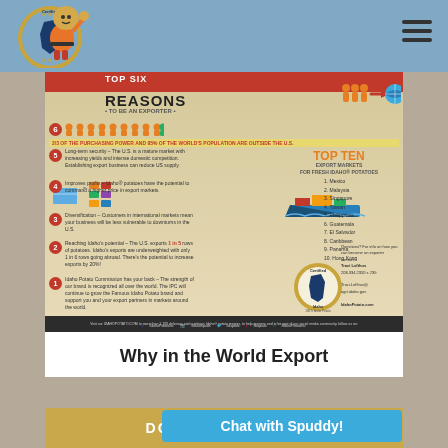[Figure (logo): Certified Idaho Potatoes mascot logo with potato character]
[Figure (infographic): Top Six Reasons to be an Exporter infographic for Idaho Potatoes, featuring Top Ten Export Markets list including Mexico, Malaysia, Singapore, Taiwan, Philippines, Guatemala, El Salvador, Caribbean, Panama, Hong Kong]
Why in the World Export
DOWNLOAD A PDF
Chat with Spuddy!